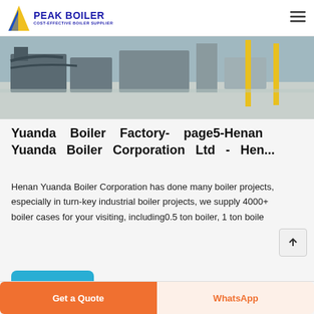PEAK BOILER COST-EFFECTIVE BOILER SUPPLIER
[Figure (photo): Industrial boiler factory floor with machinery and equipment visible]
Yuanda Boiler Factory- page5-Henan Yuanda Boiler Corporation Ltd - Hen...
Henan Yuanda Boiler Corporation has done many boiler projects, especially in turn-key industrial boiler projects, we supply 4000+ boiler cases for your visiting, including0.5 ton boiler, 1 ton boile
Get price
Get a Quote
WhatsApp